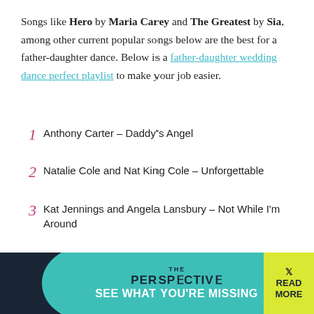Songs like Hero by Maria Carey and The Greatest by Sia, among other current popular songs below are the best for a father-daughter dance. Below is a father-daughter wedding dance perfect playlist to make your job easier.
1  Anthony Carter – Daddy's Angel
2  Natalie Cole and Nat King Cole – Unforgettable
3  Kat Jennings and Angela Lansbury – Not While I'm Around
4  Tim McGraw – My little girl
5  Mariah Carey – Hero
6  The Temptations – My Girl
7  K…
[Figure (other): Advertisement overlay: THE PERSPECTIVE — SEE WHAT YOU'RE MISSING, with READ MORE button on yellow background]